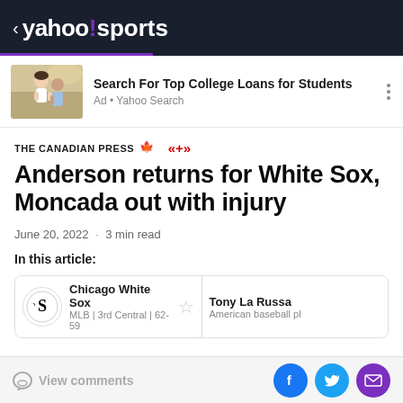< yahoo!sports
[Figure (screenshot): Advertisement banner: photo of two young people, text 'Search For Top College Loans for Students', 'Ad • Yahoo Search']
THE CANADIAN PRESS
Anderson returns for White Sox, Moncada out with injury
June 20, 2022 · 3 min read
In this article:
Chicago White Sox
MLB | 3rd Central | 62-59
Tony La Russa
American baseball pl
View comments